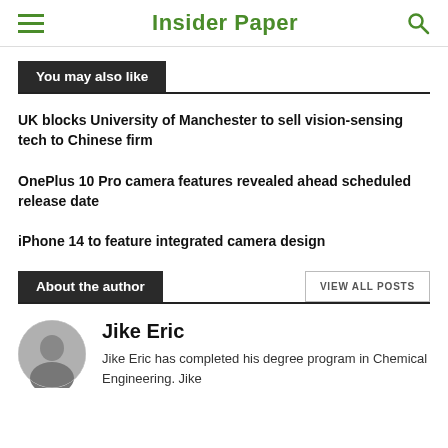Insider Paper
You may also like
UK blocks University of Manchester to sell vision-sensing tech to Chinese firm
OnePlus 10 Pro camera features revealed ahead scheduled release date
iPhone 14 to feature integrated camera design
About the author
VIEW ALL POSTS
Jike Eric
Jike Eric has completed his degree program in Chemical Engineering. Jike